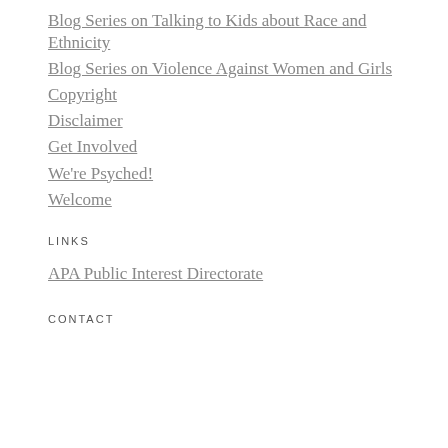Blog Series on Talking to Kids about Race and Ethnicity
Blog Series on Violence Against Women and Girls
Copyright
Disclaimer
Get Involved
We're Psyched!
Welcome
LINKS
APA Public Interest Directorate
CONTACT